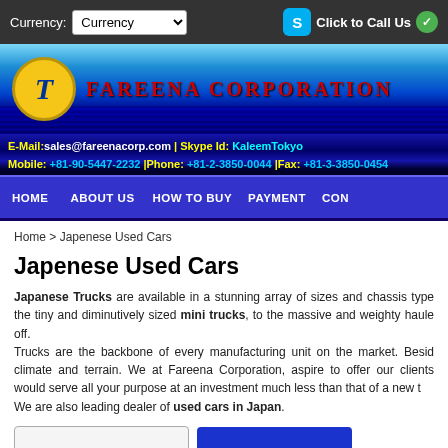Currency: [Currency dropdown] | Click to Call Us
[Figure (logo): Fareena Corporation banner with logo, blue gradient background and red company name text]
E-Mail: sales@fareenacorp.com | Skype Id: KaleemTokyo
Mobile: +81-90-5447-2232 | Phone: +81-2-3850-0044 | Fax: +81-3-3850-0454
HOME | ABOUT US | HOW TO BUY | PAYMENT | CON...
Home > Japenese Used Cars
Japenese Used Cars
Japanese Trucks are available in a stunning array of sizes and chassis types, from the tiny and diminutively sized mini trucks, to the massive and weighty haulers that paid off.
Trucks are the backbone of every manufacturing unit on the market. Besides climate and terrain. We at Fareena Corporation, aspire to offer our clients that would serve all your purpose at an investment much less than that of a new tr...
We are also leading dealer of used cars in Japan.